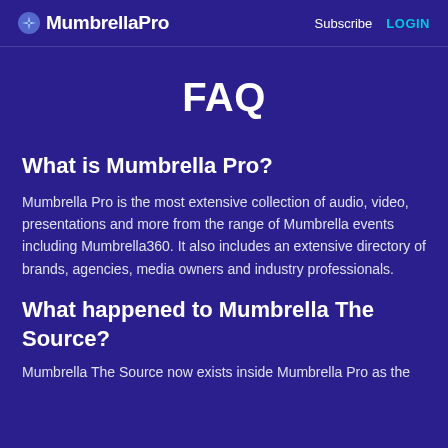MumbrellaPro  Subscribe  LOGIN
FAQ
What is Mumbrella Pro?
Mumbrella Pro is the most extensive collection of audio, video, presentations and more from the range of Mumbrella events including Mumbrella360. It also includes an extensive directory of brands, agencies, media owners and industry professionals.
What happened to Mumbrella The Source?
Mumbrella The Source now exists inside Mumbrella Pro as the